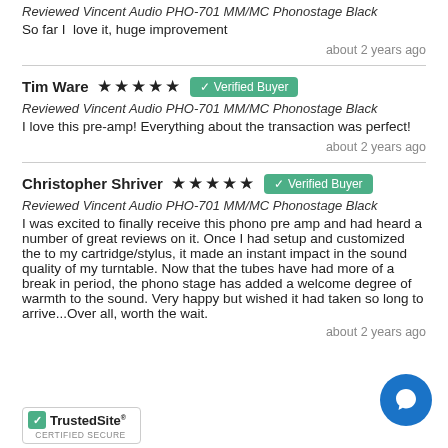Reviewed Vincent Audio PHO-701 MM/MC Phonostage Black
So far I  love it, huge improvement
about 2 years ago
Tim Ware  ★★★★★  ✓ Verified Buyer
Reviewed Vincent Audio PHO-701 MM/MC Phonostage Black
I love this pre-amp! Everything about the transaction was perfect!
about 2 years ago
Christopher Shriver  ★★★★★  ✓ Verified Buyer
Reviewed Vincent Audio PHO-701 MM/MC Phonostage Black
I was excited to finally receive this phono pre amp and had heard a number of great reviews on it. Once I had setup and customized the to my cartridge/stylus, it made an instant impact in the sound quality of my turntable. Now that the tubes have had more of a break in period, the phono stage has added a welcome degree of warmth to the sound. Very happy but wished it had taken so long to arrive...Over all, worth the wait.
about 2 years ago
[Figure (logo): TrustedSite Certified Secure logo]